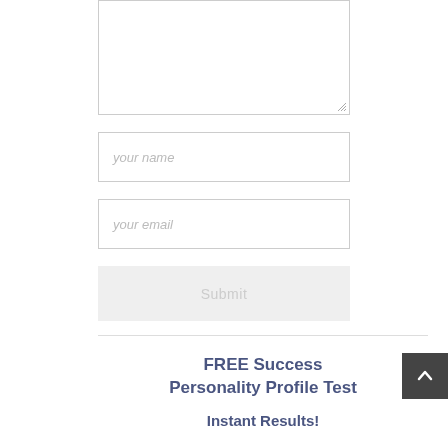[Figure (other): A textarea form input (multi-line text box) with a resize handle in the bottom-right corner, partially shown at top of page]
your name
your email
Submit
FREE Success Personality Profile Test
Instant Results!